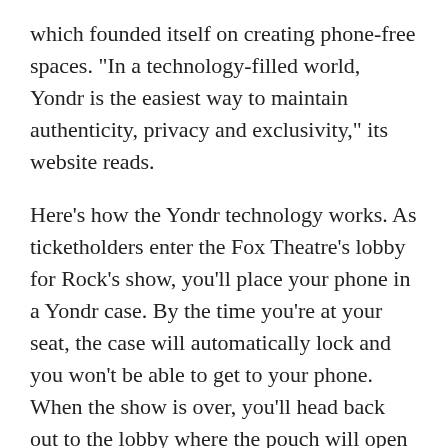which founded itself on creating phone-free spaces. "In a technology-filled world, Yondr is the easiest way to maintain authenticity, privacy and exclusivity," its website reads.
Here's how the Yondr technology works. As ticketholders enter the Fox Theatre's lobby for Rock's show, you'll place your phone in a Yondr case. By the time you're at your seat, the case will automatically lock and you won't be able to get to your phone. When the show is over, you'll head back out to the lobby where the pouch will open at an unlocking station. (If at any point you want to check your phone, you'll have to leave the show and go to one of the unlocking stations in the lobby.)
Chris Rock says he wants his fans to focus on his